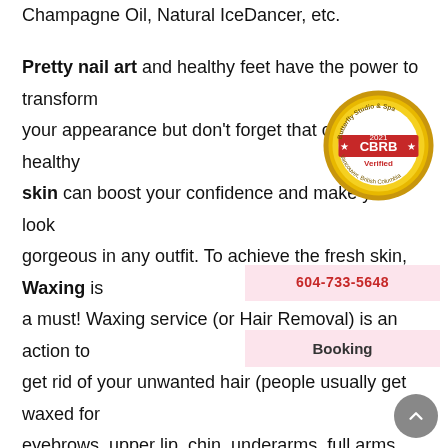Champagne Oil, Natural IceDancer, etc.
Pretty nail art and healthy feet have the power to transform your appearance but don't forget that clear, healthy skin can boost your confidence and make you look gorgeous in any outfit. To achieve the fresh skin, Waxing is a must! Waxing service (or Hair Removal) is an action to get rid of your unwanted hair (people usually get waxed for eyebrows, upper lip, chin, underarms, full arms, full face, legs, back, bikini line, and so on). A successful Waxing service has to be quick, painless, and smooth. To fulfill those expectations, an esthetician must know what kind of Waxing product is the most effective for each body, face,
[Figure (logo): CBRB 2021 Verified badge for Butterfly Studio & Spa, Vancouver, British Columbia]